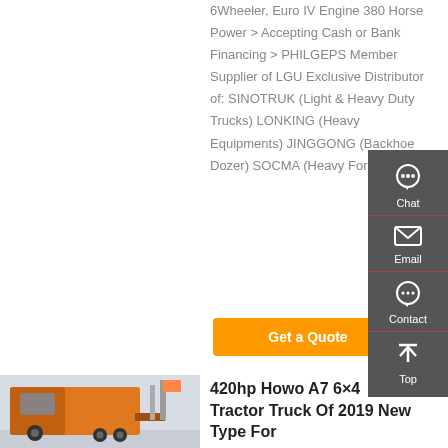6Wheeler, Euro IV Engine 380 Horse Power > Accepting Cash or Bank Financing > PHILGEPS Member Supplier of LGU Exclusive Distributor of: SINOTRUK (Light & Heavy Duty Trucks) LONKING (Heavy Equipments) JINGGONG (Backhoe Dozer) SOCMA (Heavy Forklift) ...
[Figure (other): Orange 'Get a Quote' button]
[Figure (photo): Orange Howo A7 tractor truck photographed from behind at a vehicle lot]
420hp Howo A7 6X4 Tractor Truck Of 2019 New Type For
[Figure (infographic): Sidebar with Chat, Email, Contact, and Top navigation icons on dark grey background]